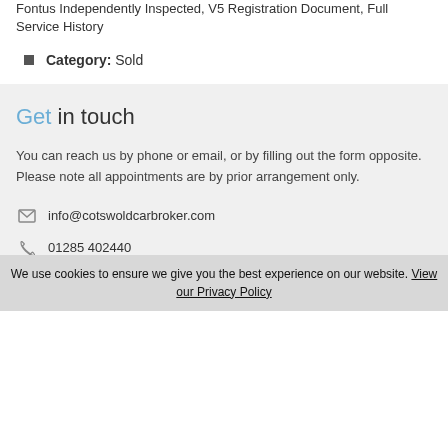Fontus Independently Inspected, V5 Registration Document, Full Service History
Category: Sold
Get in touch
You can reach us by phone or email, or by filling out the form opposite. Please note all appointments are by prior arrangement only.
info@cotswoldcarbroker.com
01285 402440
07513 597988
We use cookies to ensure we give you the best experience on our website. View our Privacy Policy